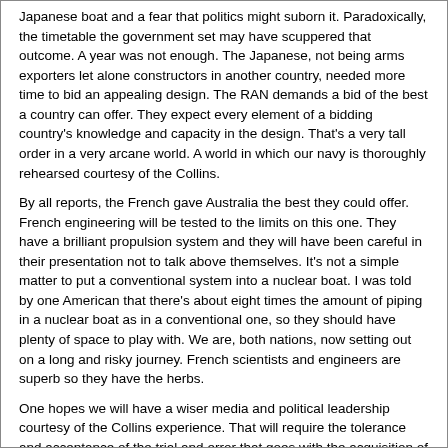Japanese boat and a fear that politics might suborn it. Paradoxically, the timetable the government set may have scuppered that outcome. A year was not enough. The Japanese, not being arms exporters let alone constructors in another country, needed more time to bid an appealing design. The RAN demands a bid of the best a country can offer. They expect every element of a bidding country's knowledge and capacity in the design. That's a very tall order in a very arcane world. A world in which our navy is thoroughly rehearsed courtesy of the Collins.
By all reports, the French gave Australia the best they could offer. French engineering will be tested to the limits on this one. They have a brilliant propulsion system and they will have been careful in their presentation not to talk above themselves. It's not a simple matter to put a conventional system into a nuclear boat. I was told by one American that there's about eight times the amount of piping in a nuclear boat as in a conventional one, so they should have plenty of space to play with. We are, both nations, now setting out on a long and risky journey. French scientists and engineers are superb so they have the herbs.
One hopes we will have a wiser media and political leadership courtesy of the Collins experience. That will require the tolerance and acceptance of the trial and error that goes with the acquisition of all major defence platforms.
Kim Beazley is a distinguished fellow at ASPI. He is a former minister for defence and recently returned from a six-year term as Australia's ambassador to the United States.